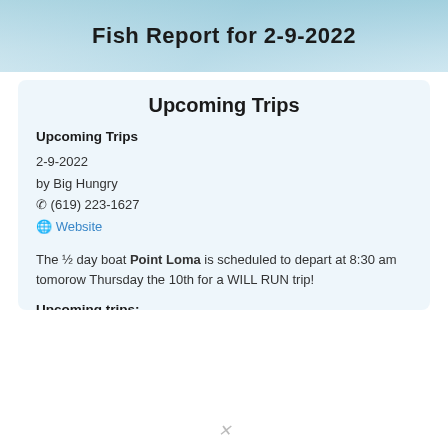Fish Report for 2-9-2022
Upcoming Trips
Upcoming Trips
2-9-2022
by Big Hungry
(619) 223-1627
Website
The ½ day boat Point Loma is scheduled to depart at 8:30 am tomorow Thursday the 10th for a WILL RUN trip!
Upcoming trips: